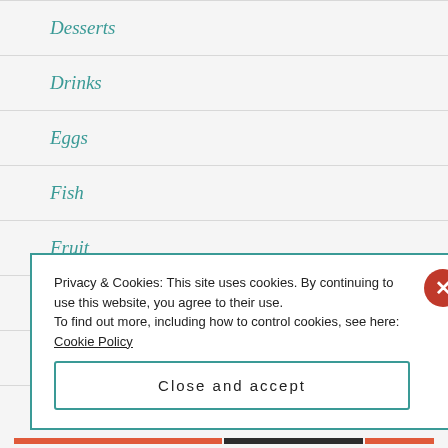Desserts
Drinks
Eggs
Fish
Fruit
Grow Your Own
italian
Privacy & Cookies: This site uses cookies. By continuing to use this website, you agree to their use. To find out more, including how to control cookies, see here: Cookie Policy
Close and accept